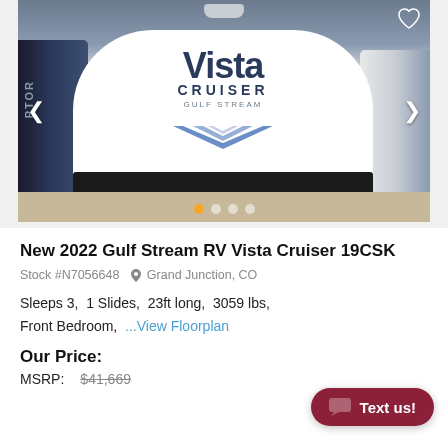[Figure (photo): Photo of a white 2022 Gulf Stream RV Vista Cruiser 19CSK travel trailer parked in a lot. The front of the trailer shows the Vista Cruiser branding in large dark blue letters. Navigation arrows are visible on left and right sides. Four dot indicators are shown at the bottom, with the first dot highlighted in orange.]
New 2022 Gulf Stream RV Vista Cruiser 19CSK
Stock #N7056648  Grand Junction, CO
Sleeps 3, 1 Slides, 23ft long, 3059 lbs, Front Bedroom, ...View Floorplan
Our Price:
MSRP: $41,669